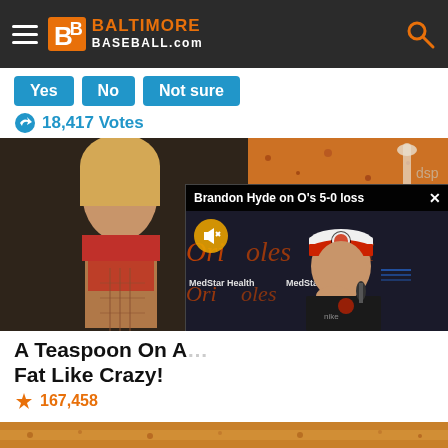Baltimore Baseball.com
Yes
No
Not sure
18,417 Votes
[Figure (photo): Fitness photo of a woman showing abs and a video overlay of Brandon Hyde on O's 5-0 loss press conference with MedStar Health backdrop]
A Teaspoon On A... Fat Like Crazy!
167,458